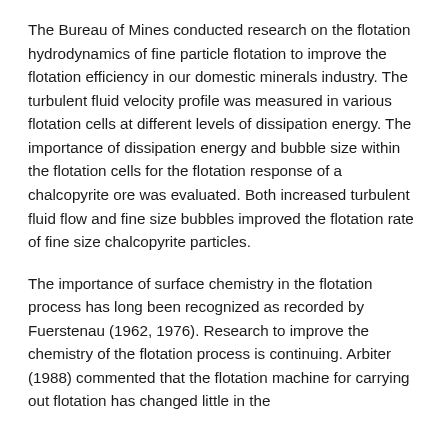The Bureau of Mines conducted research on the flotation hydrodynamics of fine particle flotation to improve the flotation efficiency in our domestic minerals industry. The turbulent fluid velocity profile was measured in various flotation cells at different levels of dissipation energy. The importance of dissipation energy and bubble size within the flotation cells for the flotation response of a chalcopyrite ore was evaluated. Both increased turbulent fluid flow and fine size bubbles improved the flotation rate of fine size chalcopyrite particles.
The importance of surface chemistry in the flotation process has long been recognized as recorded by Fuerstenau (1962, 1976). Research to improve the chemistry of the flotation process is continuing. Arbiter (1988) commented that the flotation machine for carrying out flotation has changed little in the